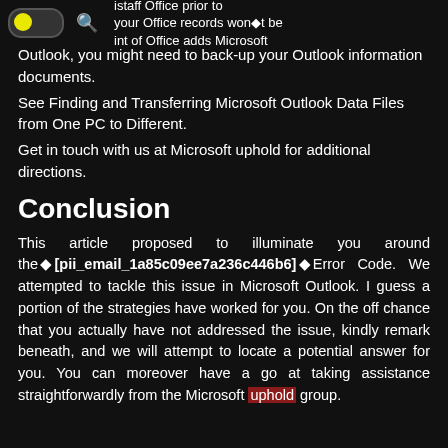istaff Office prior to your Office records won't be int of Office adds Microsoft
Outlook, you might need to back-up your Outlook information documents.
See Finding and Transferring Microsoft Outlook Data Files from One PC to Different.
Get in touch with us at Microsoft uphold for additional directions.
Conclusion
This article proposed to illuminate you around the◆[pii_email_1a85c09ee7a236c446b6]◆Error Code. We attempted to tackle this issue in Microsoft Outlook. I guess a portion of the strategies have worked for you. On the off chance that you actually have not addressed the issue, kindly remark beneath, and we will attempt to locate a potential answer for you. You can moreover have a go at taking assistance straightforwardly from the Microsoft uphold group.